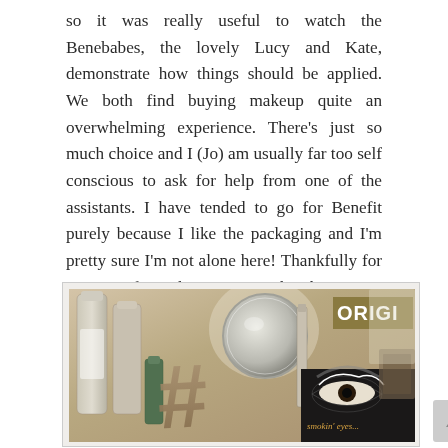so it was really useful to watch the Benebabes, the lovely Lucy and Kate, demonstrate how things should be applied. We both find buying makeup quite an overwhelming experience. There's just so much choice and I (Jo) am usually far too self conscious to ask for help from one of the assistants. I have tended to go for Benefit purely because I like the packaging and I'm pretty sure I'm not alone here! Thankfully for me, Benefit packs just as much substance as it does style!
[Figure (photo): Photo of Benefit makeup products and cosmetics arranged on a counter, with a large circular mirror, various bottles and a black box showing smoky eyes product. An Origins store sign is visible in the background.]